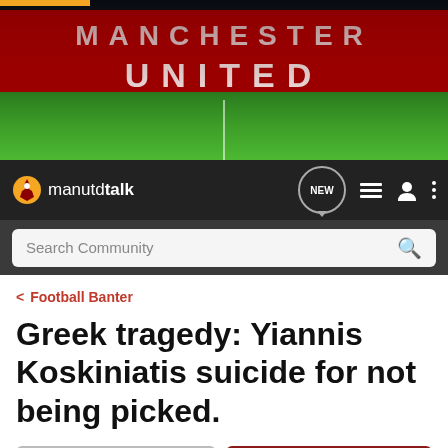[Figure (photo): Manchester United Old Trafford stadium banner with red stands and green pitch, showing 'MANCHESTER UNITED' text]
manutdtalk — navigation bar with NEW button, list icon, user icon, and menu icon
Search Community
< Football Banter
Greek tragedy: Yiannis Koskiniatis suicide for not being picked.
→ Jump to Latest
+ Follow
1 - 17 of 17 Posts